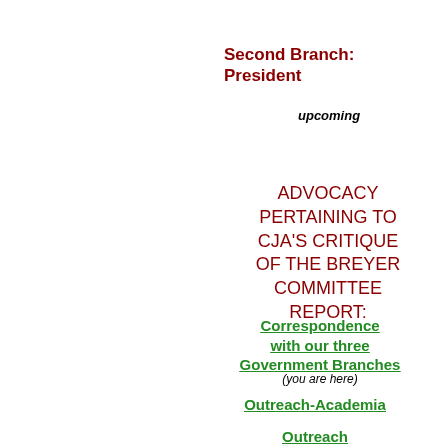Second Branch: President
upcoming
ADVOCACY PERTAINING TO CJA'S CRITIQUE OF THE BREYER COMMITTEE REPORT:
Correspondence with our three Government Branches
(you are here)
Outreach-Academia
Outreach